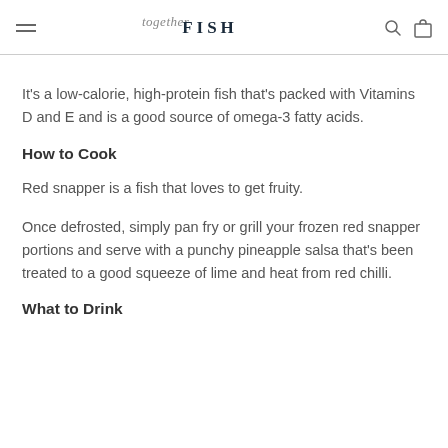FISH together
It's a low-calorie, high-protein fish that's packed with Vitamins D and E and is a good source of omega-3 fatty acids.
How to Cook
Red snapper is a fish that loves to get fruity.
Once defrosted, simply pan fry or grill your frozen red snapper portions and serve with a punchy pineapple salsa that's been treated to a good squeeze of lime and heat from red chilli.
What to Drink